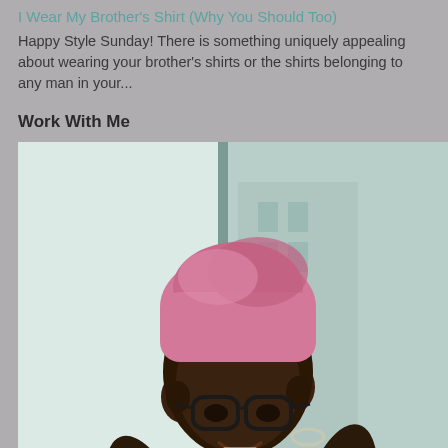I Wear My Brother's Shirt (Why You Should Too)
Happy Style Sunday! There is something uniquely appealing about wearing your brother's shirts or the shirts belonging to any man in your...
Work With Me
[Figure (photo): A woman with a pink head wrap and glasses, smiling and holding her glasses with both hands. She is wearing a yellow/tie-dye shirt and a necklace, standing near a window with a city building visible in the background. The image has a semi-transparent overlay at the bottom with text 'Work With Me'.]